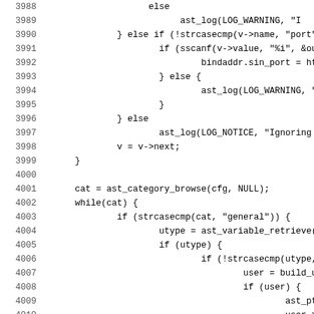[Figure (other): Source code listing in C, lines 3988-4019, showing configuration parsing logic with ast_log, strcasecmp, sscanf, ast_category_browse, ast_variable_retrieve, build_user, build_peer function calls and nested if/else/while blocks.]